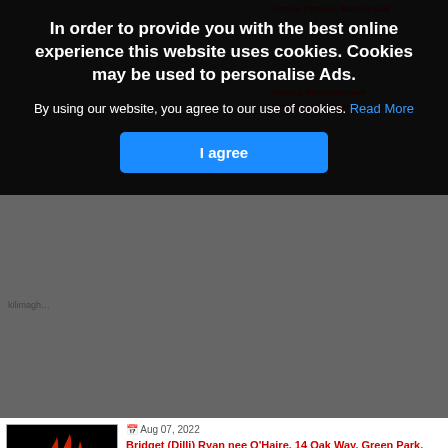[Figure (screenshot): Cookie consent overlay banner on a website showing obituary listings. Background shows partially visible red-text obituary entries. Overlay has dark semi-transparent background with bold white headline, body text, and a blue 'I agree' button.]
In order to provide you with the best online experience this website uses cookies. Cookies may be used to personalise Ads.
By using our website, you agree to our use of cookies. Read More
I agree
Aug 07, 2022
Bridget (Dilli) Ryan nee O'Haire, 14 Oak Way, Green Park, Cloondalkin, Dublin 22 and formerly of Bunnadubber, The Neale, Ballinrobe, Co. Mayo
Bridget (Dilli) Ryan nee O'Haire

14 Oak Way, Green Park,

Cloondalkin, Dublin 22 and…
Aug 07, 2022
Paddy Joe O'Brien, Carrowmore, Knock, Co